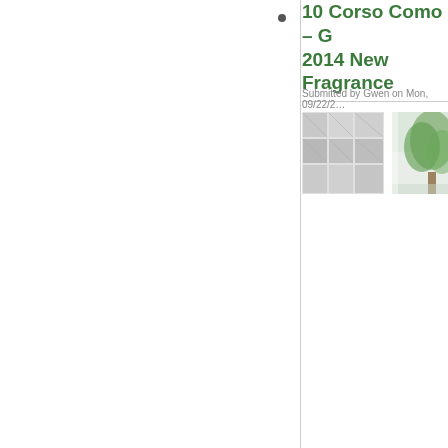•
10 Corso Como – G... 2014 New Fragrance...
Submitted by Gwen on Mon, 09/22/2...
[Figure (photo): Two thumbnail images: left shows a grid of window pane photos in grey tones, right shows a green leafy outdoor scene.]